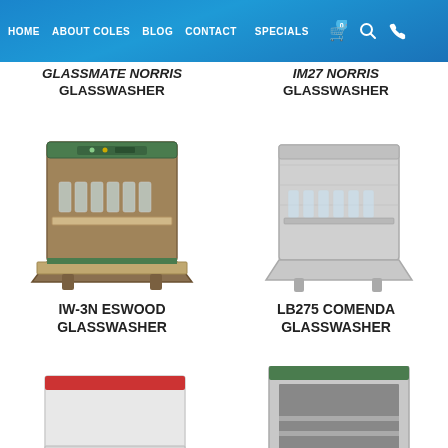HOME  ABOUT COLES  BLOG  CONTACT  SPECIALS  0
GLASSMATE NORRIS GLASSWASHER
IM27 NORRIS GLASSWASHER
[Figure (photo): IW-3N Eswood glasswasher machine, brown/tan color with green trim, open front door showing glass racks]
[Figure (photo): LB275 Comenda glasswasher machine, stainless steel color, open front door showing glass racks]
IW-3N ESWOOD GLASSWASHER
LB275 COMENDA GLASSWASHER
[Figure (photo): Bottom left glasswasher machine, partially visible]
[Figure (photo): Bottom right glasswasher machine with green trim, partially visible]